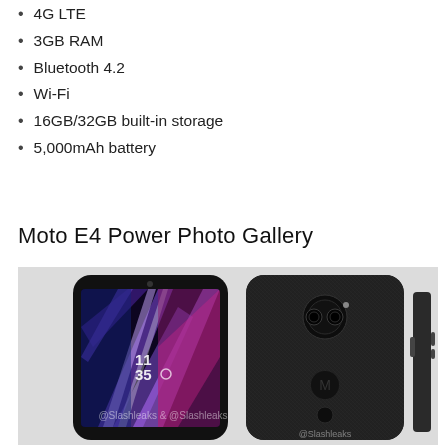4G LTE
3GB RAM
Bluetooth 4.2
Wi-Fi
16GB/32GB built-in storage
5,000mAh battery
Moto E4 Power Photo Gallery
[Figure (photo): Three views of the Moto E4 Power smartphone — front view showing colorful wallpaper with time 11:35, rear view showing textured black back with camera module and Motorola logo, and side profile view. Watermark reads @Slashleaks.]